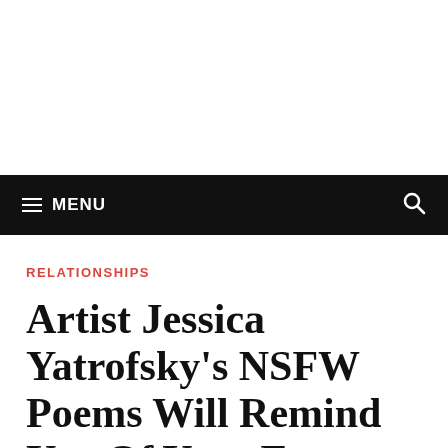≡ MENU
RELATIONSHIPS
Artist Jessica Yatrofsky's NSFW Poems Will Remind You Of Your Exes